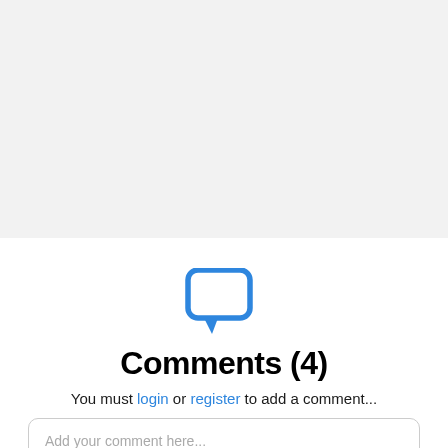[Figure (illustration): Chat bubble / comment icon in blue outline style]
Comments (4)
You must login or register to add a comment...
Add your comment here...